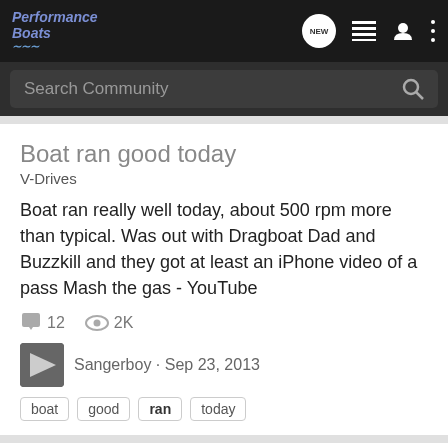Performance Boats
Boat ran good today
V-Drives
Boat ran really well today, about 500 rpm more than typical. Was out with Dragboat Dad and Buzzkill and they got at least an iPhone video of a pass Mash the gas - YouTube
12  2K  Sangerboy · Sep 23, 2013
boat  good  ran  today
Ran Into This Boat
PB Open Water
Call the COPS!!!! Whoops!!! (:)eek(:)